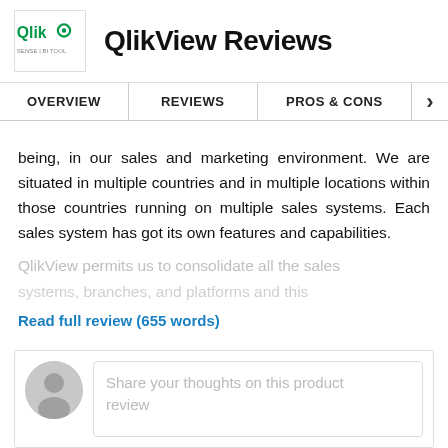[Figure (logo): Qlik logo in a white box with border]
QlikView Reviews
OVERVIEW | REVIEWS | PROS & CONS | >
being, in our sales and marketing environment. We are situated in multiple countries and in multiple locations within those countries running on multiple sales systems. Each sales system has got its own features and capabilities.
QlikView permits us to consolidate all the sales [faded/truncated text]
Read full review (655 words)
Share your thoughts on this product review